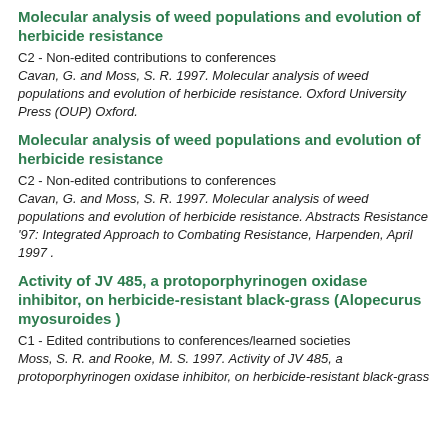Molecular analysis of weed populations and evolution of herbicide resistance
C2 - Non-edited contributions to conferences
Cavan, G. and Moss, S. R. 1997. Molecular analysis of weed populations and evolution of herbicide resistance. Oxford University Press (OUP) Oxford.
Molecular analysis of weed populations and evolution of herbicide resistance
C2 - Non-edited contributions to conferences
Cavan, G. and Moss, S. R. 1997. Molecular analysis of weed populations and evolution of herbicide resistance. Abstracts Resistance '97: Integrated Approach to Combating Resistance, Harpenden, April 1997 .
Activity of JV 485, a protoporphyrinogen oxidase inhibitor, on herbicide-resistant black-grass (Alopecurus myosuroides )
C1 - Edited contributions to conferences/learned societies
Moss, S. R. and Rooke, M. S. 1997. Activity of JV 485, a protoporphyrinogen oxidase inhibitor, on herbicide-resistant black-grass (Alopecurus myosuroides ).